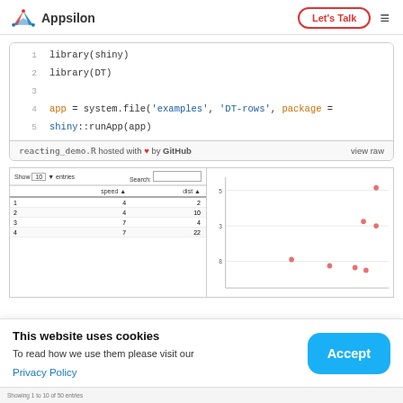Appsilon  |  Let's Talk  |  ≡
1   library(shiny)
2   library(DT)
3
4   app = system.file('examples', 'DT-rows', package =
5   shiny::runApp(app)
reacting_demo.R hosted with ♥ by GitHub   view raw
[Figure (screenshot): Screenshot showing a DT DataTable with columns 'speed' and 'dist', rows: 1/4/2, 2/4/10, 3/7/4, 4/7/22; with Show 10 entries and Search controls]
[Figure (scatter-plot): Scatter plot panel showing data points at approximately y=5, 8 range]
This website uses cookies
To read how we use them please visit our
Privacy Policy
Accept
Showing 1 to 10 of 50 entries